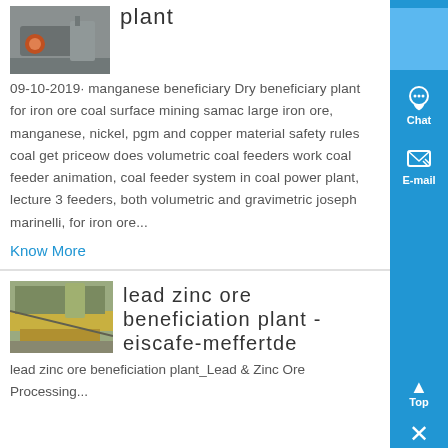[Figure (photo): Industrial machine/equipment on a dock or facility, grey tones]
plant
09-10-2019· manganese beneficiary Dry beneficiary plant for iron ore coal surface mining samac large iron ore, manganese, nickel, pgm and copper material safety rules coal get priceow does volumetric coal feeders work coal feeder animation, coal feeder system in coal power plant, lecture 3 feeders, both volumetric and gravimetric joseph marinelli, for iron ore...
Know More
[Figure (photo): Industrial conveyor or processing equipment, lead zinc ore plant]
lead zinc ore beneficiation plant - eiscafe-meffertde
lead zinc ore beneficiation plant_Lead & Zinc Ore Processing...